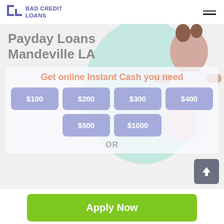[Figure (logo): Bad Credit Loans logo with blue L-shaped icon and blue text]
Payday Loans Mandeville LA
Get online Instant Cash you need
$100
$200
$300
$400
$500
$1000
OR
Apply Now
Applying does NOT affect your credit score!
No credit check to apply.